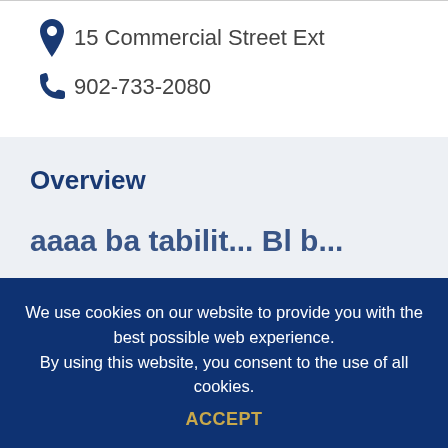15 Commercial Street Ext
902-733-2080
Overview
We use cookies on our website to provide you with the best possible web experience. By using this website, you consent to the use of all cookies.
ACCEPT